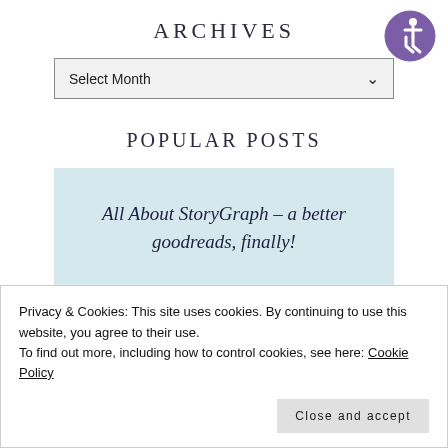ARCHIVES
[Figure (logo): Accessibility icon: purple circle with white wheelchair user symbol]
Select Month
POPULAR POSTS
All About StoryGraph – a better goodreads, finally!
Ultimate Book Blog...
Privacy & Cookies: This site uses cookies. By continuing to use this website, you agree to their use.
To find out more, including how to control cookies, see here: Cookie Policy
Close and accept